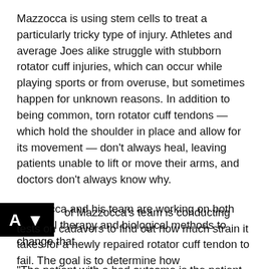Mazzocca is using stem cells to treat a particularly tricky type of injury. Athletes and average Joes alike struggle with stubborn rotator cuff injuries, which can occur while playing sports or from overuse, but sometimes happen for unknown reasons. In addition to being common, torn rotator cuff tendons — which hold the shoulder in place and allow for its movement — don't always heal, leaving patients unable to lift or move their arms, and doctors don't always know why.
Mazzocca and his team are working on both physical therapy and biological methods to change that.
“The patient with a bad outcome is the patient that drives us,” he says.
[Figure (logo): Black square logo with white 'AV' letters and a downward arrow symbol]
of Mazzocca’s team is conducting tests on cadavers to find out how much strain it takes for a newly repaired rotator cuff tendon to fail. The goal is to determine how